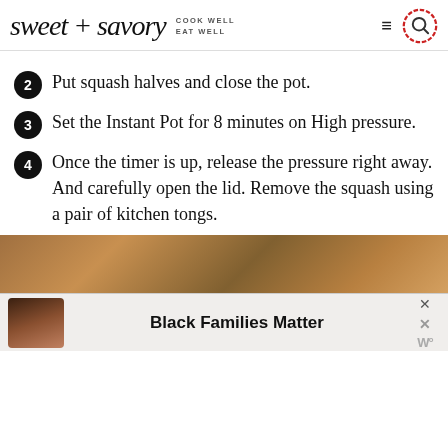sweet + savory — COOK WELL EAT WELL
2  Put squash halves and close the pot.
3  Set the Instant Pot for 8 minutes on High pressure.
4  Once the timer is up, release the pressure right away. And carefully open the lid. Remove the squash using a pair of kitchen tongs.
[Figure (photo): Advertisement banner showing a textured background and a family photo with text 'Black Families Matter']